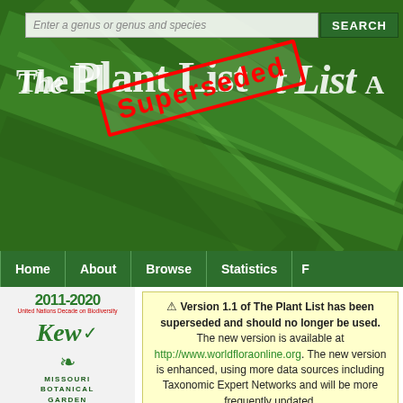[Figure (screenshot): The Plant List website header with green leaf background, search bar, and SUPERSEDED stamp overlay]
Enter a genus or genus and species
SEARCH
The Plant List
[Figure (illustration): Red SUPERSEDED stamp rotated diagonally across the header]
Home | About | Browse | Statistics | F
[Figure (logo): 2011-2020 United Nations Decade on Biodiversity logo]
[Figure (logo): Kew Gardens logo]
[Figure (logo): Missouri Botanical Garden logo]
⚠ Version 1.1 of The Plant List has been superseded and should no longer be used. The new version is available at http://www.worldfloraonline.org. The new version is enhanced, using more data sources including Taxonomic Expert Networks and will be more frequently updated.
The Plant List → Angiosperms → Leguminosae → Klugiodendron
Klugiodendron